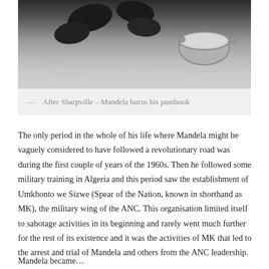[Figure (photo): Black and white photograph showing Mandela burning his passbook after Sharpeville — close-up of feet and a metal bowl/pot on the ground]
— After Sharpville – Mandela burns his passbook
The only period in the whole of his life where Mandela might be vaguely considered to have followed a revolutionary road was during the first couple of years of the 1960s. Then he followed some military training in Algeria and this period saw the establishment of Umkhonto we Sizwe (Spear of the Nation, known in shorthand as MK), the military wing of the ANC. This organisation limited itself to sabotage activities in its beginning and rarely went much further for the rest of its existence and it was the activities of MK that led to the arrest and trial of Mandela and others from the ANC leadership.